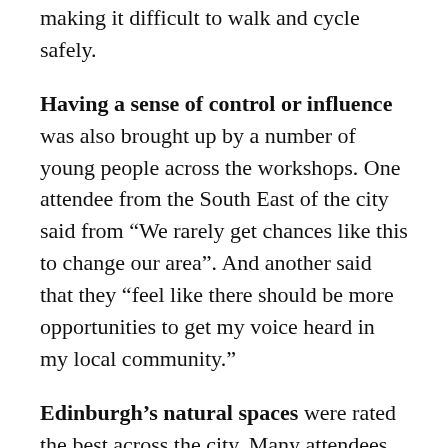making it difficult to walk and cycle safely.
Having a sense of control or influence was also brought up by a number of young people across the workshops. One attendee from the South East of the city said from “We rarely get chances like this to change our area”. And another said that they “feel like there should be more opportunities to get my voice heard in my local community.”
Edinburgh’s natural spaces were rated the best across the city. Many attendees mentioned their local favourites and appreciated that these spaces were open free and accessible.
Good quality public transport and a wide